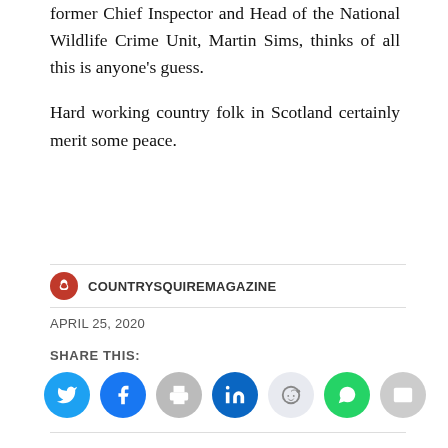former Chief Inspector and Head of the National Wildlife Crime Unit, Martin Sims, thinks of all this is anyone's guess.
Hard working country folk in Scotland certainly merit some peace.
COUNTRYSQUIREMAGAZINE
APRIL 25, 2020
SHARE THIS: